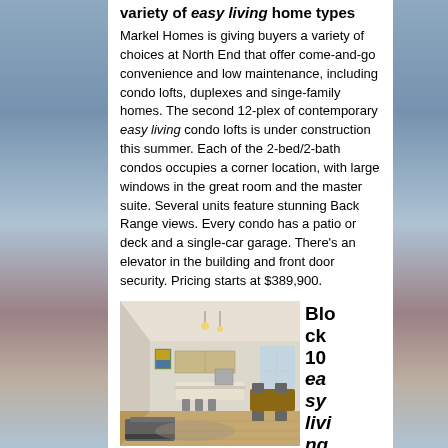variety of easy living home types
Markel Homes is giving buyers a variety of choices at North End that offer come-and-go convenience and low maintenance, including condo lofts, duplexes and singe-family homes. The second 12-plex of contemporary easy living condo lofts is under construction this summer. Each of the 2-bed/2-bath condos occupies a corner location, with large windows in the great room and the master suite. Several units feature stunning Back Range views. Every condo has a patio or deck and a single-car garage. There's an elevator in the building and front door security. Pricing starts at $389,900.
[Figure (photo): Interior photo of a modern open-plan condo showing kitchen, dining and living area with wood floors, bar stools, and large windows]
Block 10 easy living sin